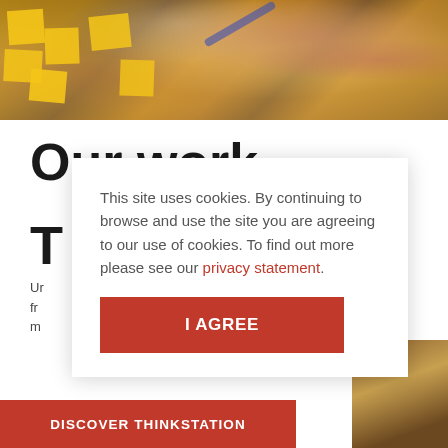[Figure (photo): Photo of people at a workshop writing on yellow sticky notes on a whiteboard]
Our work
T
Ur
fr
m
This site uses cookies. By continuing to browse and use the site you are agreeing to our use of cookies. To find out more please see our privacy statement.
I AGREE
DISCOVER THINKSTATION